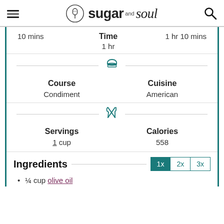sugar and soul
| Prep | Time | Total |
| --- | --- | --- |
| 10 mins | 1 hr | 1 hr 10 mins |
Course
Condiment
Cuisine
American
Servings
1 cup
Calories
558
Ingredients
¼ cup olive oil